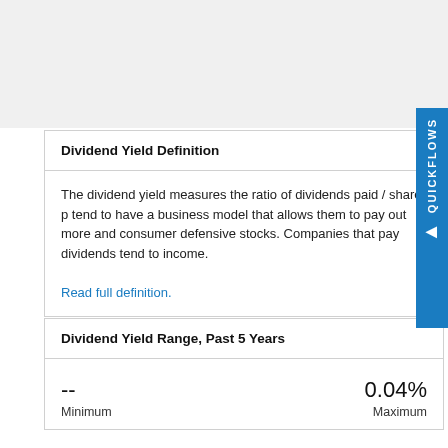Dividend Yield Definition
The dividend yield measures the ratio of dividends paid / share p... tend to have a business model that allows them to pay out more ... and consumer defensive stocks. Companies that pay dividends tend to... income.
Read full definition.
Dividend Yield Range, Past 5 Years
| Minimum | Maximum |
| --- | --- |
| -- | 0.04% |